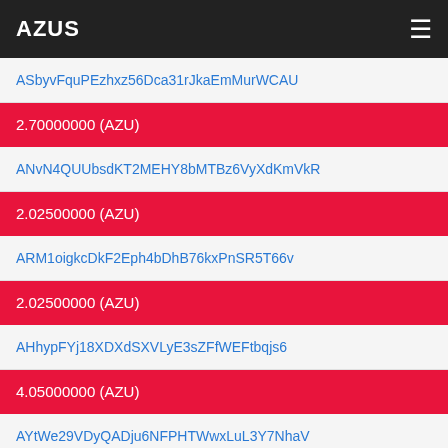AZUS
ASbyvFquPEzhxz56Dca31rJkaEmMurWCAU
2.70000000 (AZU)
ANvN4QUUbsdKT2MEHY8bMTBz6VyXdKmVkR
2.02500000 (AZU)
ARM1oigkcDkF2Eph4bDhB76kxPnSR5T66v
2.02500000 (AZU)
AHhypFYj18XDXdSXVLyE3sZFfWEFtbqjs6
4.05000000 (AZU)
AYtWe29VDyQADju6NFPHTWwxLuL3Y7NhaV
1.35000000 (AZU)
ANDM6usD4P6pheHgCkHkBEDdUkBaZohsn3